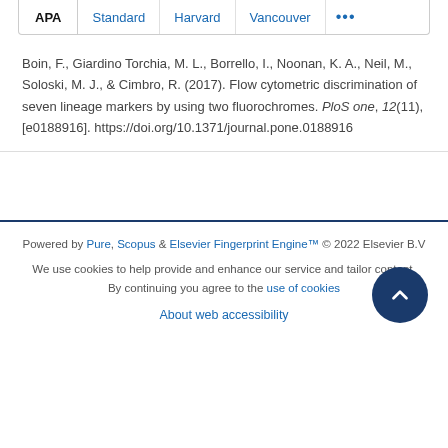APA | Standard | Harvard | Vancouver | ...
Boin, F., Giardino Torchia, M. L., Borrello, I., Noonan, K. A., Neil, M., Soloski, M. J., & Cimbro, R. (2017). Flow cytometric discrimination of seven lineage markers by using two fluorochromes. PloS one, 12(11), [e0188916]. https://doi.org/10.1371/journal.pone.0188916
Powered by Pure, Scopus & Elsevier Fingerprint Engine™ © 2022 Elsevier B.V
We use cookies to help provide and enhance our service and tailor content. By continuing you agree to the use of cookies
About web accessibility